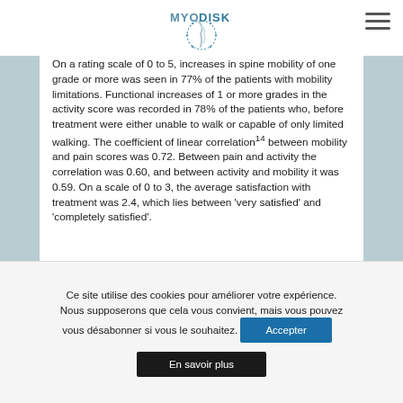[Figure (logo): MYODISK logo with stylized spine/disc graphic and dotted circular border]
On a rating scale of 0 to 5, increases in spine mobility of one grade or more was seen in 77% of the patients with mobility limitations. Functional increases of 1 or more grades in the activity score was recorded in 78% of the patients who, before treatment were either unable to walk or capable of only limited walking. The coefficient of linear correlation14 between mobility and pain scores was 0.72. Between pain and activity the correlation was 0.60, and between activity and mobility it was 0.59. On a scale of 0 to 3, the average satisfaction with treatment was 2.4, which lies between 'very satisfied' and 'completely satisfied'.
Ce site utilise des cookies pour améliorer votre expérience. Nous supposerons que cela vous convient, mais vous pouvez vous désabonner si vous le souhaitez.
Accepter
En savoir plus